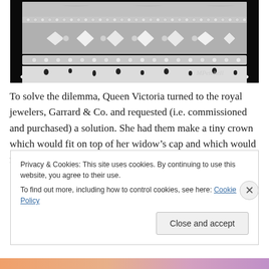[Figure (photo): Close-up photograph of an ornate royal crown with diamonds and gemstones against a black background. The crown features intricate metalwork with large and small diamonds arranged in geometric patterns. A photographer's watermark 'MPetchell' is visible in the lower right area.]
To solve the dilemma, Queen Victoria turned to the royal jewelers, Garrard & Co. and requested (i.e. commissioned and purchased) a solution. She had them make a tiny crown which would fit on top of her widow's cap and which would not compress her spine with all sorts of fatuous gold
Privacy & Cookies: This site uses cookies. By continuing to use this website, you agree to their use.
To find out more, including how to control cookies, see here: Cookie Policy